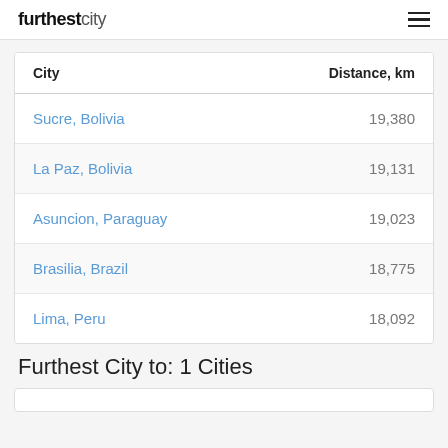furthestcity
| City | Distance, km |
| --- | --- |
| Sucre, Bolivia | 19,380 |
| La Paz, Bolivia | 19,131 |
| Asuncion, Paraguay | 19,023 |
| Brasilia, Brazil | 18,775 |
| Lima, Peru | 18,092 |
Furthest City to: 1 Cities